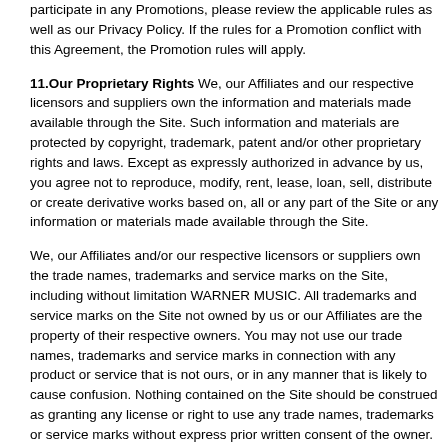participate in any Promotions, please review the applicable rules as well as our Privacy Policy.  If the rules for a Promotion conflict with this Agreement, the Promotion rules will apply.
11.Our Proprietary Rights We, our Affiliates and our respective licensors and suppliers own the information and materials made available through the Site.  Such information and materials are protected by copyright, trademark, patent and/or other proprietary rights and laws.  Except as expressly authorized in advance by us, you agree not to reproduce, modify, rent, lease, loan, sell, distribute or create derivative works based on, all or any part of the Site or any information or materials made available through the Site.
We, our Affiliates and/or our respective licensors or suppliers own the trade names, trademarks and service marks on the Site, including without limitation WARNER MUSIC.  All trademarks and service marks on the Site not owned by us or our Affiliates are the property of their respective owners.  You may not use our trade names, trademarks and service marks in connection with any product or service that is not ours, or in any manner that is likely to cause confusion.  Nothing contained on the Site should be construed as granting any license or right to use any trade names, trademarks or service marks without express prior written consent of the owner.
PLEASE NOTE THAT UNAUTHORIZED USE OF ANY SERVICE OR PRODUCT, INCLUDING, WITHOUT LIMITATION, WILL RESULT IN USE...